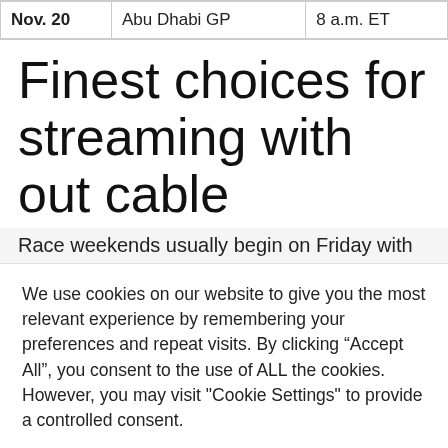| Nov. 20 | Abu Dhabi GP | 8 a.m. ET |
Finest choices for streaming with out cable
Race weekends usually begin on Friday with
We use cookies on our website to give you the most relevant experience by remembering your preferences and repeat visits. By clicking “Accept All”, you consent to the use of ALL the cookies. However, you may visit "Cookie Settings" to provide a controlled consent.